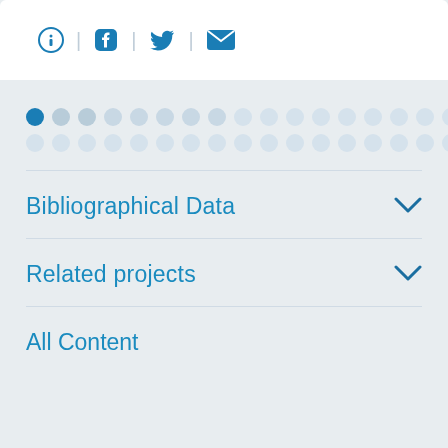[Figure (other): Social sharing icons: download/info circle, Facebook, Twitter, email envelope, separated by vertical dividers]
[Figure (other): Two rows of circular dots used as a pagination or progress indicator. First dot in row 1 is solid dark blue, remaining dots are light blue/grey in varying shades.]
Bibliographical Data
Related projects
All Content